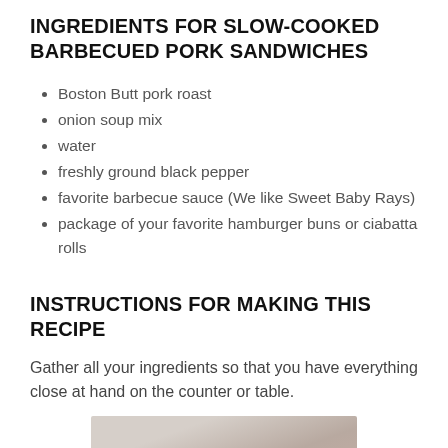INGREDIENTS FOR SLOW-COOKED BARBECUED PORK SANDWICHES
Boston Butt pork roast
onion soup mix
water
freshly ground black pepper
favorite barbecue sauce (We like Sweet Baby Rays)
package of your favorite hamburger buns or ciabatta rolls
INSTRUCTIONS FOR MAKING THIS RECIPE
Gather all your ingredients so that you have everything close at hand on the counter or table.
[Figure (photo): Photo of barbecued pork sandwich ingredients or preparation, partially visible at bottom of page]